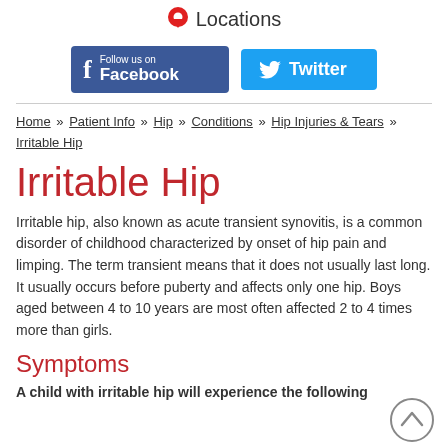Locations
[Figure (illustration): Facebook and Twitter social media follow buttons]
Home » Patient Info » Hip » Conditions » Hip Injuries & Tears » Irritable Hip
Irritable Hip
Irritable hip, also known as acute transient synovitis, is a common disorder of childhood characterized by onset of hip pain and limping. The term transient means that it does not usually last long. It usually occurs before puberty and affects only one hip. Boys aged between 4 to 10 years are most often affected 2 to 4 times more than girls.
Symptoms
A child with irritable hip will experience the following